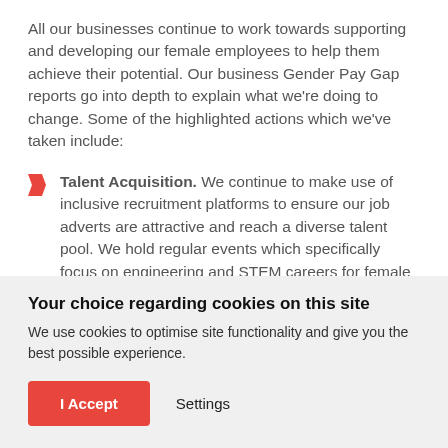All our businesses continue to work towards supporting and developing our female employees to help them achieve their potential.  Our business Gender Pay Gap reports go into depth to explain what we're doing to change.  Some of the highlighted actions which we've taken include:
Talent Acquisition. We continue to make use of inclusive recruitment platforms to ensure our job adverts are attractive and reach a diverse talent pool. We hold regular events which specifically focus on engineering and STEM careers for female entry level talent and showcase the opportunities for them.
Your choice regarding cookies on this site
We use cookies to optimise site functionality and give you the best possible experience.